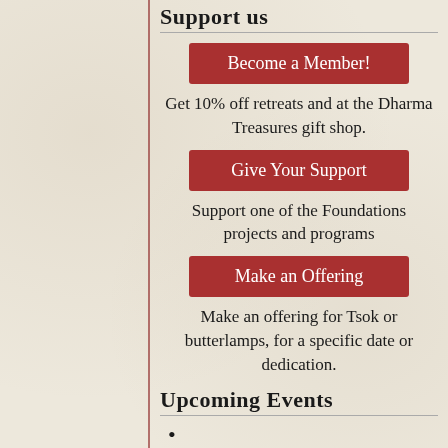Support us
Become a Member!
Get 10% off retreats and at the Dharma Treasures gift shop.
Give Your Support
Support one of the Foundations projects and programs
Make an Offering
Make an offering for Tsok or butterlamps, for a specific date or dedication.
Upcoming Events
Resting in the Nature of Mind | 09/16/2022  Tulku Thadral Rinpoche  Longchenpa's